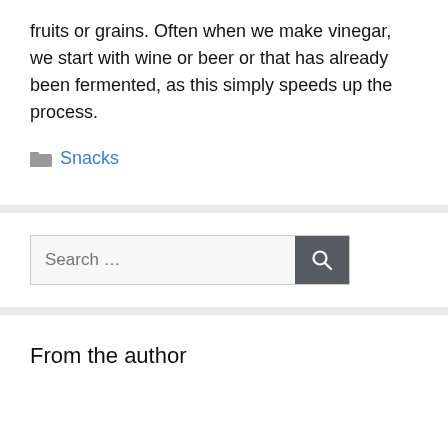fruits or grains. Often when we make vinegar, we start with wine or beer or that has already been fermented, as this simply speeds up the process.
Snacks
From the author